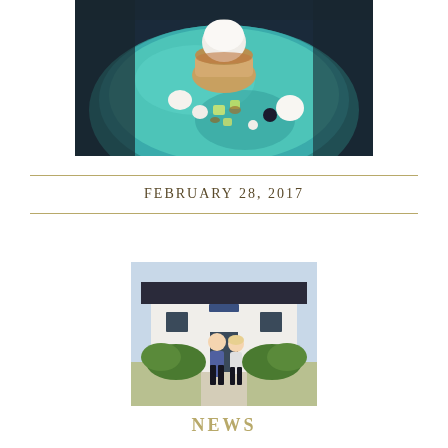[Figure (photo): A gourmet dessert on a teal/blue plate — a small tart with a white ice cream or mousse scoop on top, surrounded by various small garnishes including what appear to be meringues, crystallized fruits, nuts, and gel spheres arranged artistically on the plate.]
FEBRUARY 28, 2017
[Figure (photo): Two people (a man and a woman) standing together in front of a white building with a dark roof, green hedges on either side, on a sunny day.]
NEWS